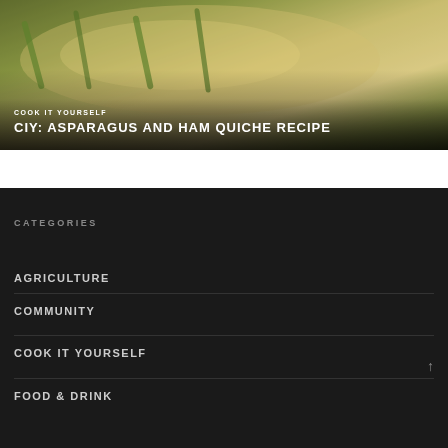[Figure (photo): Close-up photo of asparagus and ham quiche with cheese topping]
COOK IT YOURSELF
CIY: ASPARAGUS AND HAM QUICHE RECIPE
CATEGORIES
AGRICULTURE
COMMUNITY
COOK IT YOURSELF
FOOD & DRINK